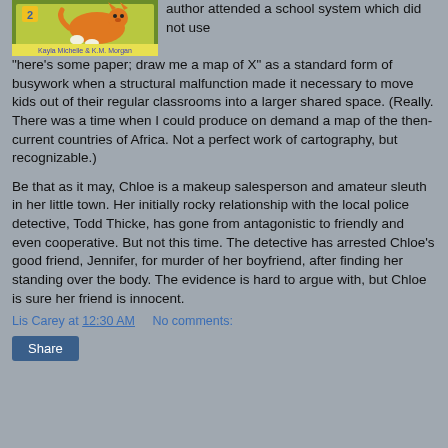[Figure (illustration): Book cover illustration showing a cartoon animal character, with text 'Kayla Michelle & K.M. Morgan' at the bottom on a yellow/green background]
author attended a school system which did not use "here's some paper; draw me a map of X" as a standard form of busywork when a structural malfunction made it necessary to move kids out of their regular classrooms into a larger shared space. (Really. There was a time when I could produce on demand a map of the then-current countries of Africa. Not a perfect work of cartography, but recognizable.)
Be that as it may, Chloe is a makeup salesperson and amateur sleuth in her little town. Her initially rocky relationship with the local police detective, Todd Thicke, has gone from antagonistic to friendly and even cooperative. But not this time. The detective has arrested Chloe's good friend, Jennifer, for murder of her boyfriend, after finding her standing over the body. The evidence is hard to argue with, but Chloe is sure her friend is innocent.
Lis Carey at 12:30 AM   No comments:
Share